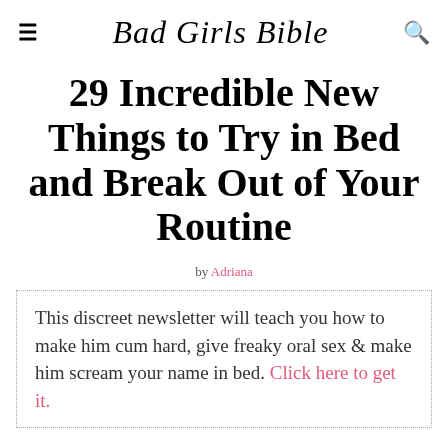Bad Girls Bible
29 Incredible New Things to Try in Bed and Break Out of Your Routine
by Adriana
This discreet newsletter will teach you how to make him cum hard, give freaky oral sex & make him scream your name in bed. Click here to get it.